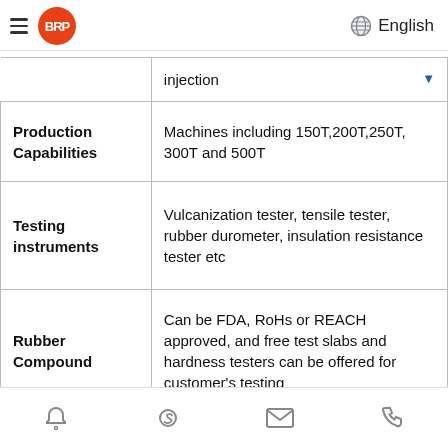BRP | English
|  |  |
| --- | --- |
|  | injection |
| Production Capabilities | Machines including 150T,200T,250T, 300T and 500T |
| Testing instruments | Vulcanization tester, tensile tester, rubber durometer, insulation resistance tester etc |
| Rubber Compound | Can be FDA, RoHs or REACH approved, and free test slabs and hardness testers can be offered for customer's testing |
|  | Inner plastic bag/outside carton/wooden pallets/ or any other |
Navigation icons: bell, Skype, email, phone